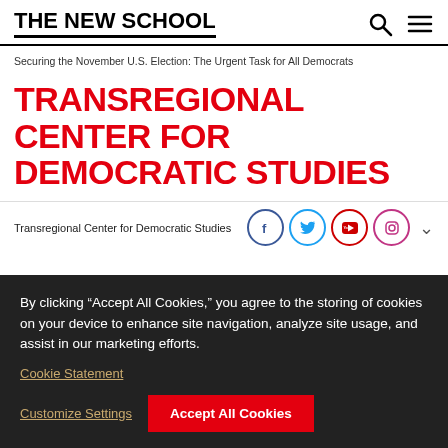THE NEW SCHOOL
Securing the November U.S. Election: The Urgent Task for All Democrats
TRANSREGIONAL CENTER FOR DEMOCRATIC STUDIES
Transregional Center for Democratic Studies
By clicking “Accept All Cookies,” you agree to the storing of cookies on your device to enhance site navigation, analyze site usage, and assist in our marketing efforts.
Cookie Statement
Customize Settings
Accept All Cookies